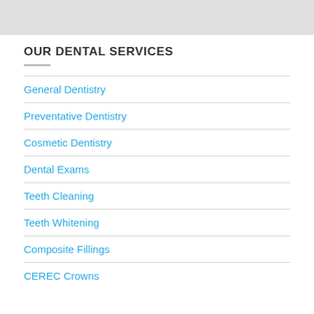[Figure (photo): Gray image placeholder at top of page]
OUR DENTAL SERVICES
General Dentistry
Preventative Dentistry
Cosmetic Dentistry
Dental Exams
Teeth Cleaning
Teeth Whitening
Composite Fillings
CEREC Crowns